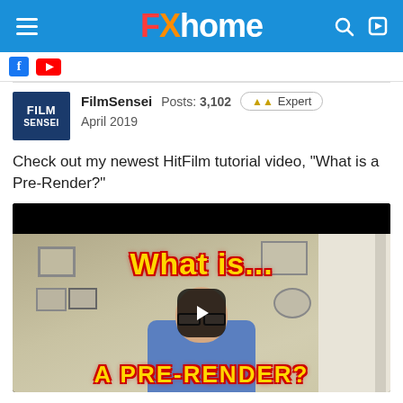FXhome
FilmSensei  Posts: 3,102  Expert  April 2019
Check out my newest HitFilm tutorial video, "What is a Pre-Render?"
[Figure (screenshot): Video thumbnail showing a man in a blue shirt with glasses, with text overlay reading 'What is... A PRE-RENDER?' in yellow with red outline, and a play button in the center.]